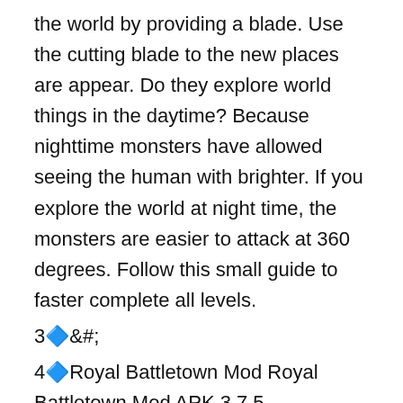the world by providing a blade. Use the cutting blade to the new places are appear. Do they explore world things in the daytime? Because nighttime monsters have allowed seeing the human with brighter. If you explore the world at night time, the monsters are easier to attack at 360 degrees. Follow this small guide to faster complete all levels.
3🔷&#;
4🔷Royal Battletown Mod Royal Battletown Mod APK 3.7.5 Features:Easy controls and addictive gameplay - a small guide will help you find a way for your first gold coins!Modern graphics and support for older devices - get the best game experience in the game.Character customization - get tons of equipment in the game shop.Different game mechanics - explore the world to find out cool stuff to do!Royal battletown is a car theft mobile game with stunning visuals and non-stop fun.Welcome new soldier!Epic adventures for the great treasures are waiting for you.Complete